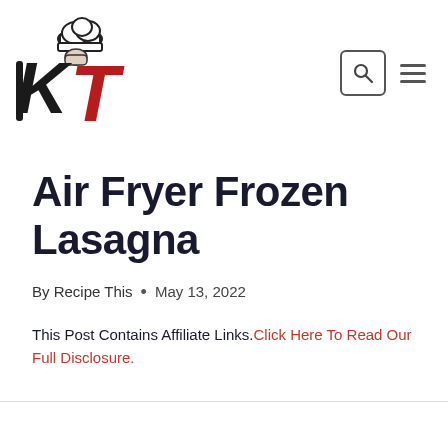[Figure (logo): RT Recipe This logo — chef hat above stylized black R and red T letters]
Air Fryer Frozen Lasagna
By Recipe This  •  May 13, 2022
This Post Contains Affiliate Links.Click Here To Read Our Full Disclosure.